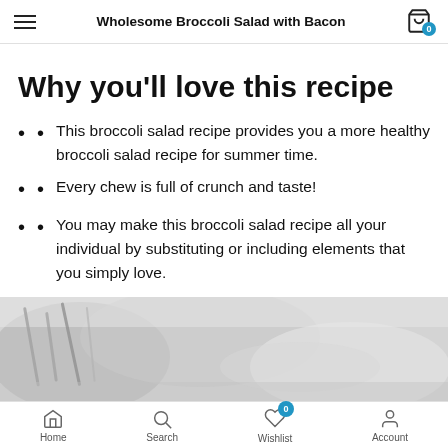Wholesome Broccoli Salad with Bacon
Why you'll love this recipe
This broccoli salad recipe provides you a more healthy broccoli salad recipe for summer time.
Every chew is full of crunch and taste!
You may make this broccoli salad recipe all your individual by substituting or including elements that you simply love.
[Figure (photo): Close-up photo of a bowl or dish, blurred/abstract food photography in grey and white tones]
Home  Search  Wishlist  Account